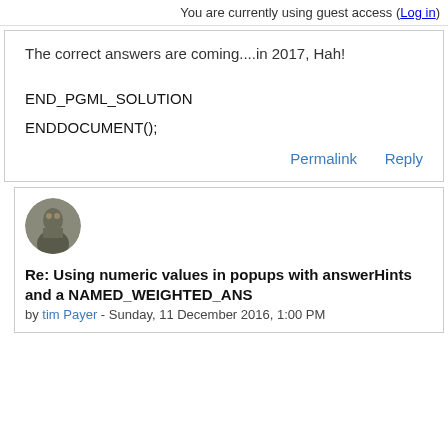You are currently using guest access (Log in)
The correct answers are coming....in 2017, Hah!
END_PGML_SOLUTION
ENDDOCUMENT();
Permalink     Reply
[Figure (photo): User avatar photo of tim Payer]
Re: Using numeric values in popups with answerHints and a NAMED_WEIGHTED_ANS
by tim Payer - Sunday, 11 December 2016, 1:00 PM